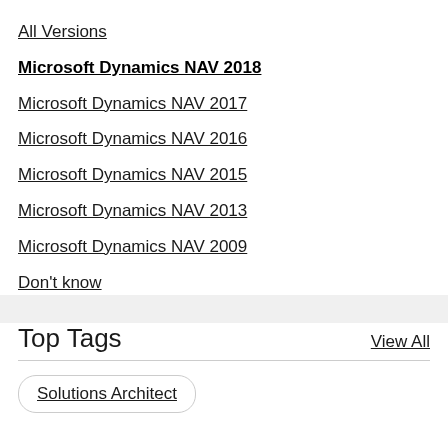All Versions
Microsoft Dynamics NAV 2018
Microsoft Dynamics NAV 2017
Microsoft Dynamics NAV 2016
Microsoft Dynamics NAV 2015
Microsoft Dynamics NAV 2013
Microsoft Dynamics NAV 2009
Don't know
Top Tags
View All
Solutions Architect